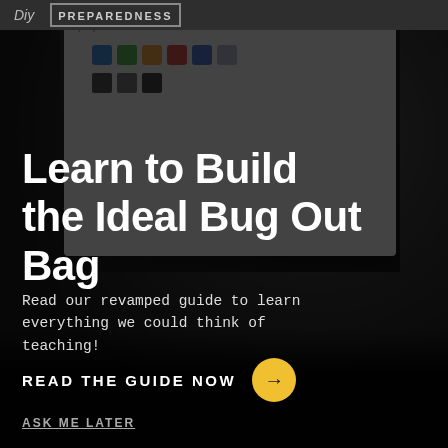Diy PREPAREDNESS
[Figure (screenshot): A dark iMac-style monitor displaying a website interface with colored swatches/cards in blue, green, orange, red, navy, and grey, against a dark background desk scene]
Learn to Build the Ideal Bug Out Bag
Read our revamped guide to learn everything we could think of teaching!
READ THE GUIDE NOW →
ASK ME LATER